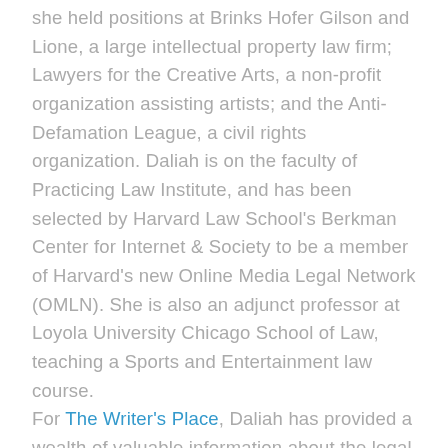she held positions at Brinks Hofer Gilson and Lione, a large intellectual property law firm; Lawyers for the Creative Arts, a non-profit organization assisting artists; and the Anti-Defamation League, a civil rights organization. Daliah is on the faculty of Practicing Law Institute, and has been selected by Harvard Law School's Berkman Center for Internet & Society to be a member of Harvard's new Online Media Legal Network (OMLN). She is also an adjunct professor at Loyola University Chicago School of Law, teaching a Sports and Entertainment law course.
For The Writer's Place, Daliah has provided a wealth of valuable information about the legal side of writing, covering both fiction and non-fiction, for print and online publications, as well as